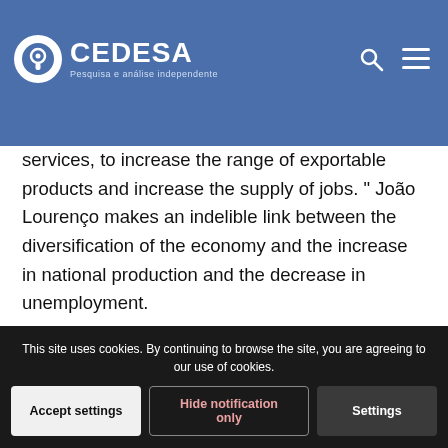CEDESA — Pesquisa e análise independente
services, to increase the range of exportable products and increase the supply of jobs. " João Lourenço makes an indelible link between the diversification of the economy and the increase in national production and the decrease in unemployment.
Basically, the government relies on the traditional postulate stated by the American economist Arthur Okun, according to which there would be a linear relationship between changes in the unemployment rate and the growth of the gross national product: with each real GDP growth in two percent would correspond to a one percent decrease in unemployment. The truth is that several e... relationship at all, and in recent years in several
This site uses cookies. By continuing to browse the site, you are agreeing to our use of cookies.
Accept settings
Hide notification only
Settings